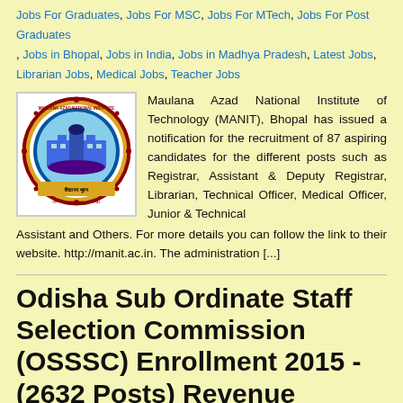Jobs For Graduates, Jobs For MSC, Jobs For MTech, Jobs For Post Graduates , Jobs in Bhopal, Jobs in India, Jobs in Madhya Pradesh, Latest Jobs, Librarian Jobs, Medical Jobs, Teacher Jobs
[Figure (logo): Maulana Azad National Institute of Technology (MANIT) Bhopal circular logo with gear border, text 'MAULANA AZAD NATIONAL INSTITUTE OF TECHNOLOGY' around the rim, inner image of institute building, and Hindi text 'विद्या पर भुवन' at bottom on yellow banner]
Maulana Azad National Institute of Technology (MANIT), Bhopal has issued a notification for the recruitment of 87 aspiring candidates for the different posts such as Registrar, Assistant & Deputy Registrar, Librarian, Technical Officer, Medical Officer, Junior & Technical Assistant and Others. For more details you can follow the link to their website. http://manit.ac.in. The administration [...]
Odisha Sub Ordinate Staff Selection Commission (OSSSC) Enrollment 2015 - (2632 Posts) Revenue Inspector, Amin, Steno and